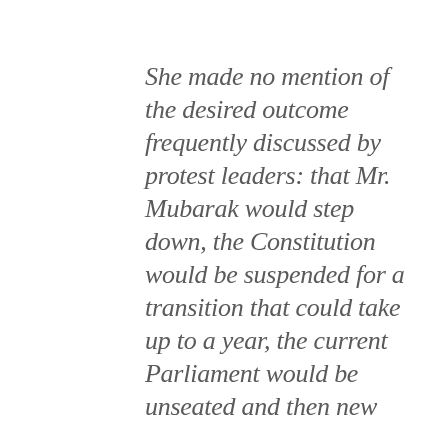She made no mention of the desired outcome frequently discussed by protest leaders: that Mr. Mubarak would step down, the Constitution would be suspended for a transition that could take up to a year, the current Parliament would be unseated and then new